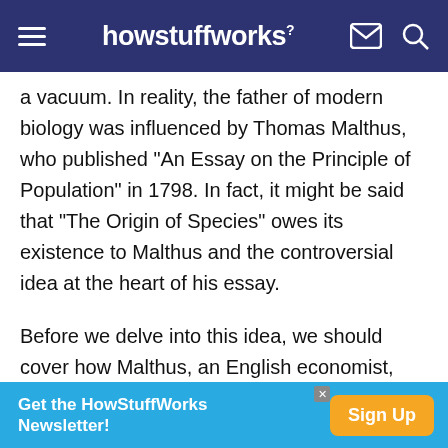howstuffworks
a vacuum. In reality, the father of modern biology was influenced by Thomas Malthus, who published "An Essay on the Principle of Population" in 1798. In fact, it might be said that "The Origin of Species" owes its existence to Malthus and the controversial idea at the heart of his essay.
Before we delve into this idea, we should cover how Malthus, an English economist, came to write his essay. One of the great concerns of 18th and 19th century England was the decline of living conditions,
Get the HowStuffWorks Newsletter! Sign Up